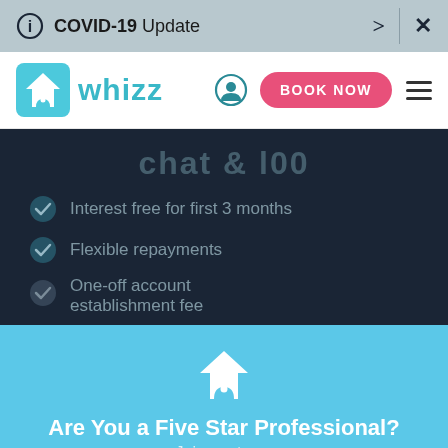COVID-19 Update
[Figure (logo): Whizz home cleaning service logo with teal house icon and 'whizz' wordmark]
Interest free for first 3 months
Flexible repayments
One-off account establishment fee
[Figure (illustration): White house/smile icon on cyan background]
Are You a Five Star Professional?
Join our team